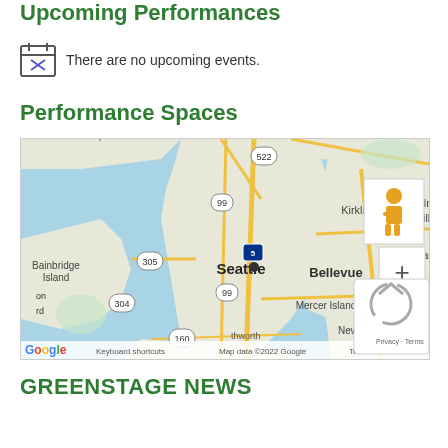Upcoming Performances
There are no upcoming events.
Performance Spaces
[Figure (map): Google Map showing the Seattle, WA area including Bainbridge Island, Bellevue, Mercer Island, Kirkland, Redmond, Newcastle, and surrounding areas. Map data ©2022 Google. Shows route numbers 522, 99, 305, 304, 5, 520, 90, 160. Includes Street View pegman icon and zoom controls.]
GREENSTAGE NEWS